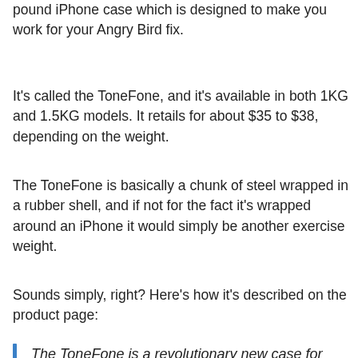pound iPhone case which is designed to make you work for your Angry Bird fix.
It's called the ToneFone, and it's available in both 1KG and 1.5KG models. It retails for about $35 to $38, depending on the weight.
The ToneFone is basically a chunk of steel wrapped in a rubber shell, and if not for the fact it's wrapped around an iPhone it would simply be another exercise weight.
Sounds simply, right? Here's how it's described on the product page:
The ToneFone is a revolutionary new case for iPhone 5 and 5s that turns your phone in to a weight loss device by increasing its weight to up to 1 or 1.5kg –